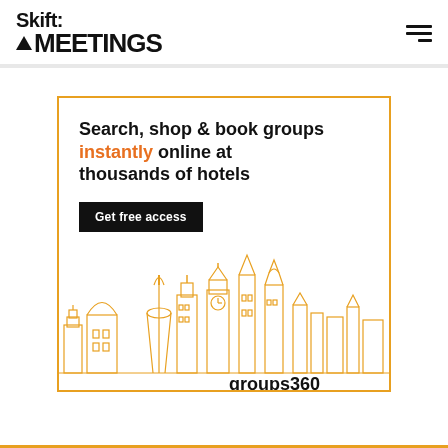Skift MEETINGS
[Figure (illustration): Groups360 advertisement banner with orange border. Headline: 'Search, shop & book groups instantly online at thousands of hotels'. Button: 'Get free access'. Below is an orange line-art skyline illustration of world city landmarks (Space Needle, Big Ben, Chrysler Building, etc.) with 'groups360' logo in the bottom right.]